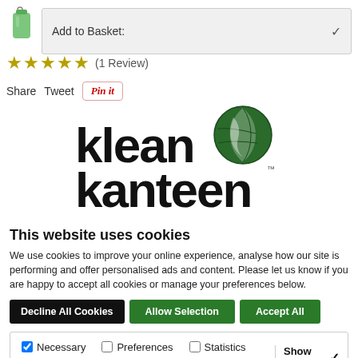[Figure (screenshot): Green water bottle icon (basket/cart item)]
Add to Basket:
★★★★★ (1 Review)
Share  Tweet  Pin it
[Figure (logo): Klean Kanteen logo with globe icon — black text 'klean kanteen' with green and white globe graphic]
This website uses cookies
We use cookies to improve your online experience, analyse how our site is performing and offer personalised ads and content. Please let us know if you are happy to accept all cookies or manage your preferences below.
Decline All Cookies  Allow Selection  Accept All
✓ Necessary  □ Preferences  □ Statistics  □ Marketing  Show details